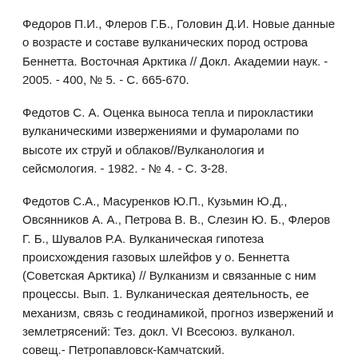Федоров П.И., Флеров Г.Б., Головин Д.И. Новые данные о возрасте и составе вулканических пород острова Беннетта. Восточная Арктика // Докл. Академии наук. - 2005. - 400, № 5. - С. 665-670.
Федотов С. А. Оценка выноса тепла и пирокластики вулканическими извержениями и фумаролами по высоте их струй и облаков//Вулканология и сейсмология. - 1982. - № 4. - С. 3-28.
Федотов С.А., Масуренков Ю.П., Кузьмин Ю.Д., Овсянников А. А., Петрова В. В., Слезин Ю. Б., Флеров Г. Б., Шувалов Р.А. Вулканическая гипотеза происхождения газовых шлейфов у о. Беннетта (Советская Арктика) // Вулканизм и связанные с ним процессы. Вып. 1. Вулканическая деятельность, ее механизм, связь с геодинамикой, прогноз извержений и землетрясений: Тез. докл. VI Всесоюз. вулканол. совещ.- Петропавловск-Камчатский.